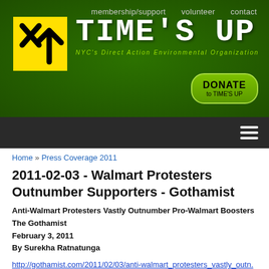[Figure (logo): Time's UP NYC logo - yellow square with X and arrow mark, large white typewriter-font title TIME'S UP, green subtitle NYC's Direct Action Environmental Organization, with navigation links membership/support, volunteer, contact, and a green oval DONATE to TIME'S UP button]
membership/support   volunteer   contact
Home » Press Coverage 2011
2011-02-03 - Walmart Protesters Outnumber Supporters - Gothamist
Anti-Walmart Protesters Vastly Outnumber Pro-Walmart Boosters
The Gothamist
February 3, 2011
By Surekha Ratnatunga
http://gothamist.com/2011/02/03/anti-walmart_protesters_vastly_outn.php?gallery0Pic=3#gallery
There was supposed to be a battle of the protests before this afternoon's twice-postponed City Council hearing on whether New